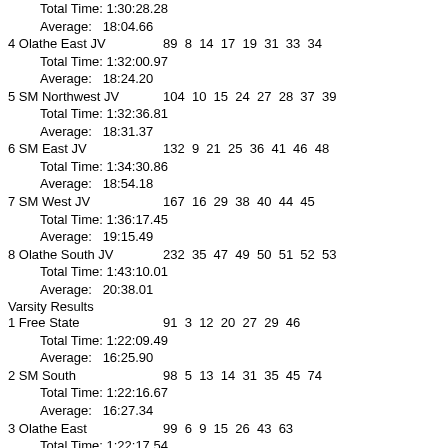Total Time: 1:30:28.28
  Average: 18:04.66
4 Olathe East JV   89  8  14  17  19  31  33  34
  Total Time: 1:32:00.97
  Average: 18:24.20
5 SM Northwest JV   104  10  15  24  27  28  37  39
  Total Time: 1:32:36.81
  Average: 18:31.37
6 SM East JV   132  9  21  25  36  41  46  48
  Total Time: 1:34:30.86
  Average: 18:54.18
7 SM West JV   167  16  29  38  40  44  45
  Total Time: 1:36:17.45
  Average: 19:15.49
8 Olathe South JV   232  35  47  49  50  51  52  53
  Total Time: 1:43:10.01
  Average: 20:38.01
Varsity Results
1 Free State   91  3  12  20  27  29  46
  Total Time: 1:22:09.49
  Average: 16:25.90
2 SM South   98  5  13  14  31  35  45  74
  Total Time: 1:22:16.67
  Average: 16:27.34
3 Olathe East   99  6  9  15  26  43  63
  Total Time: 1:22:17.54
  Average: 16:27.51
4 Olathe Northwest   104  2  4  21  23  54
  Total Time: 1:22:10.65
  Average: 16:26.13
5 SM East   106  8  17  24  25  32  44  47
  Total Time: 1:22:52.64
  Average: 16:34.53
6 SM Northwest   108  1  7  22  30  48  60
  Total Time: 1:22:13.33